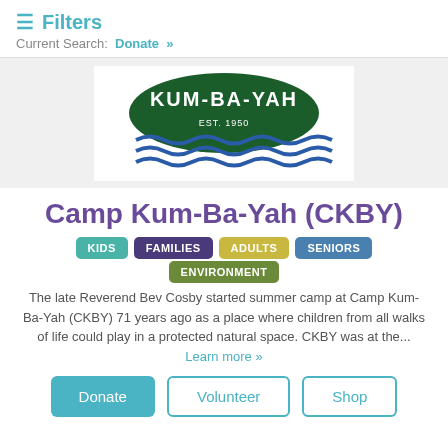≡ Filters
Current Search: Donate »
[Figure (logo): Camp Kum-Ba-Yah logo: green oval/canoe shape with white text 'KUM-BA-YAH', 'EST. 1950', and blue wavy water lines below]
Camp Kum-Ba-Yah (CKBY)
KIDS
FAMILIES
ADULTS
SENIORS
ENVIRONMENT
The late Reverend Bev Cosby started summer camp at Camp Kum-Ba-Yah (CKBY) 71 years ago as a place where children from all walks of life could play in a protected natural space. CKBY was at the... Learn more »
Donate  Volunteer  Shop